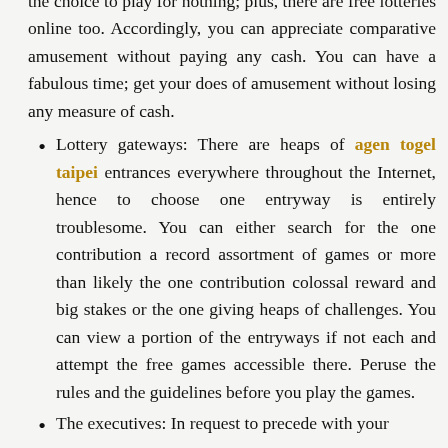the choice to play for nothing; plus, there are free lotteries online too. Accordingly, you can appreciate comparative amusement without paying any cash. You can have a fabulous time; get your does of amusement without losing any measure of cash.
Lottery gateways: There are heaps of agen togel taipei entrances everywhere throughout the Internet, hence to choose one entryway is entirely troublesome. You can either search for the one contribution a record assortment of games or more than likely the one contribution colossal reward and big stakes or the one giving heaps of challenges. You can view a portion of the entryways if not each and attempt the free games accessible there. Peruse the rules and the guidelines before you play the games.
The executives: In request to precede with your